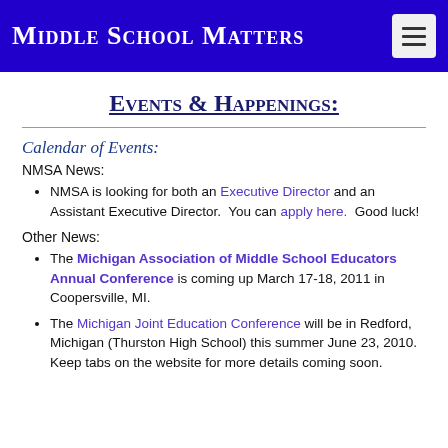Middle School Matters
Events & Happenings:
Calendar of Events:
NMSA News:
NMSA is looking for both an Executive Director and an Assistant Executive Director.  You can apply here.  Good luck!
Other News:
The Michigan Association of Middle School Educators Annual Conference is coming up March 17-18, 2011 in Coopersville, MI.
The Michigan Joint Education Conference will be in Redford, Michigan (Thurston High School) this summer June 23, 2010.  Keep tabs on the website for more details coming soon.